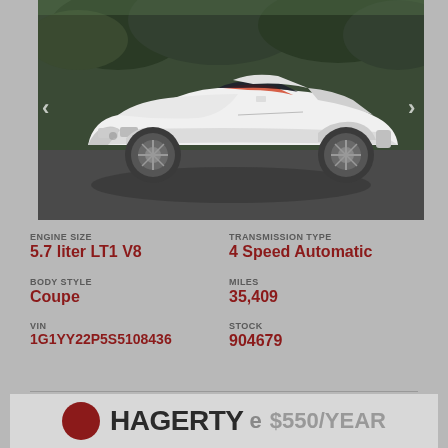[Figure (photo): White Corvette C4 sports car parked on pavement with trees in background]
ENGINE SIZE
5.7 liter LT1 V8
TRANSMISSION TYPE
4 Speed Automatic
BODY STYLE
Coupe
MILES
35,409
VIN
1G1YY22P5S5108436
STOCK
904679
HAGERTY e $550/YEAR